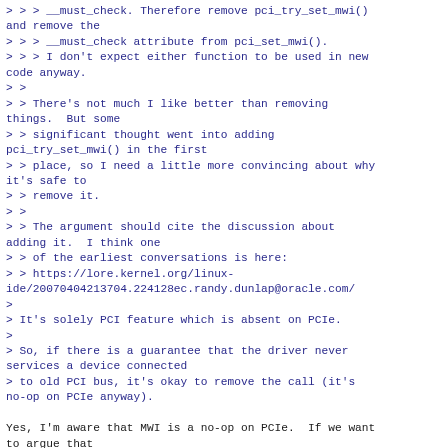> > > __must_check. Therefore remove pci_try_set_mwi() and remove the
> > > __must_check attribute from pci_set_mwi().
> > > I don't expect either function to be used in new code anyway.
> >
> > There's not much I like better than removing things.  But some
> > significant thought went into adding pci_try_set_mwi() in the first
> > place, so I need a little more convincing about why it's safe to
> > remove it.
> >
> > The argument should cite the discussion about adding it.  I think one
> > of the earliest conversations is here:
> > https://lore.kernel.org/linux-ide/20070404213704.224128ec.randy.dunlap@oracle.com/
>
> It's solely PCI feature which is absent on PCIe.
>
> So, if there is a guarantee that the driver never services a device connected
> to old PCI bus, it's okay to remove the call (it's no-op on PCIe anyway).

Yes, I'm aware that MWI is a no-op on PCIe.  If we want to argue that
we don't need to support Conventional PCI devices, that should